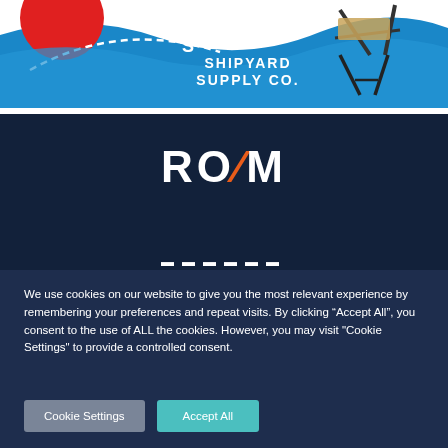[Figure (illustration): Shipyard Supply Co. banner with blue wave background, red circle, white dashed curved line, and a folding chair/rack on the right. White text reads 'SHIPYARD SUPPLY CO.' with an S logo.]
[Figure (logo): ROAM logo on dark navy background. White letters R, O, M and an orange/red inverted-V shape for the A.]
We use cookies on our website to give you the most relevant experience by remembering your preferences and repeat visits. By clicking “Accept All”, you consent to the use of ALL the cookies. However, you may visit "Cookie Settings" to provide a controlled consent.
Cookie Settings
Accept All